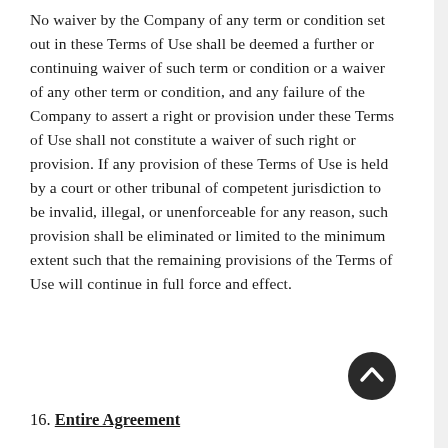No waiver by the Company of any term or condition set out in these Terms of Use shall be deemed a further or continuing waiver of such term or condition or a waiver of any other term or condition, and any failure of the Company to assert a right or provision under these Terms of Use shall not constitute a waiver of such right or provision. If any provision of these Terms of Use is held by a court or other tribunal of competent jurisdiction to be invalid, illegal, or unenforceable for any reason, such provision shall be eliminated or limited to the minimum extent such that the remaining provisions of the Terms of Use will continue in full force and effect.
16. Entire Agreement